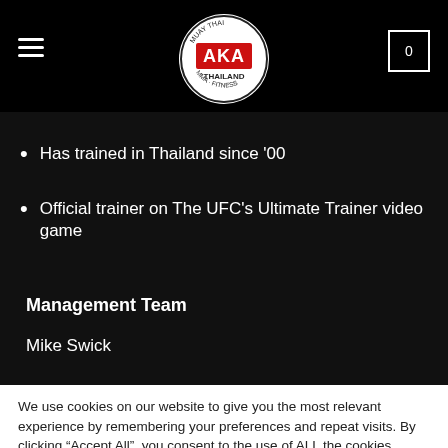AKA Thailand - Muay Thai MMA Fitness
Has trained in Thailand since '00
Official trainer on The UFC's Ultimate Trainer video game
Management Team
Mike Swick
We use cookies on our website to give you the most relevant experience by remembering your preferences and repeat visits. By clicking “Accept All”, you consent to the use of ALL the cookies. However, you may visit "Cookie Settings" to provide a controlled consent.